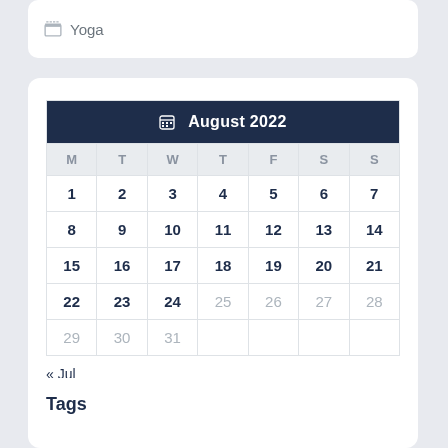Yoga
| M | T | W | T | F | S | S |
| --- | --- | --- | --- | --- | --- | --- |
| 1 | 2 | 3 | 4 | 5 | 6 | 7 |
| 8 | 9 | 10 | 11 | 12 | 13 | 14 |
| 15 | 16 | 17 | 18 | 19 | 20 | 21 |
| 22 | 23 | 24 | 25 | 26 | 27 | 28 |
| 29 | 30 | 31 |  |  |  |  |
« Jul
Tags